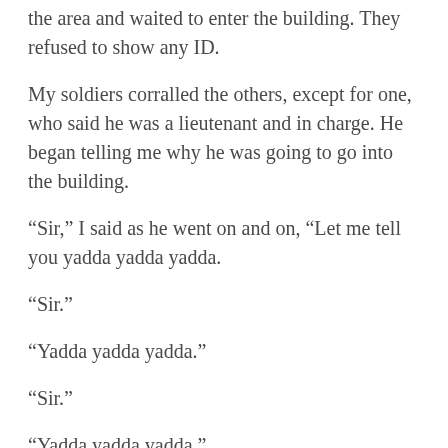the area and waited to enter the building. They refused to show any ID.
My soldiers corralled the others, except for one, who said he was a lieutenant and in charge. He began telling me why he was going to go into the building.
“Sir,” I said as he went on and on, “Let me tell you yadda yadda yadda.
“Sir.”
“Yadda yadda yadda.”
“Sir.”
“Yadda yadda yadda.”
I got in his face and shouted, “SHUT THE F’K UP!”
I said it loud. So loud I woke myself up. “Wow,” I said to myself. “I hope that wasn’t out loud.” My wife seemed still asleep. I got up and went to the bathroom, did my business, washed my hands and went back to the